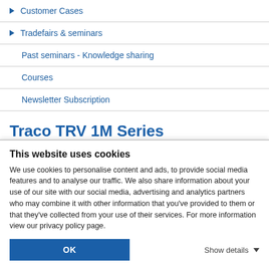▶ Customer Cases
▶ Tradefairs & seminars
Past seminars - Knowledge sharing
Courses
Newsletter Subscription
Traco TRV 1M Series
This website uses cookies
We use cookies to personalise content and ads, to provide social media features and to analyse our traffic. We also share information about your use of our site with our social media, advertising and analytics partners who may combine it with other information that you've provided to them or that they've collected from your use of their services. For more information view our privacy policy page.
OK
Show details